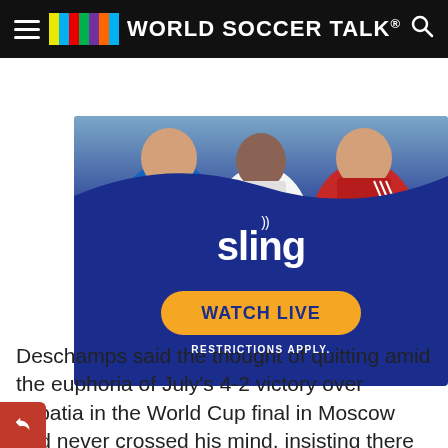World Soccer Talk
[Figure (photo): Sling TV advertisement with soccer players wearing Chelsea blue, Arsenal white, and Manchester United red jerseys. Features Sling logo and 'WATCH LIVE' button with 'RESTRICTIONS APPLY.' text on a dark blue background.]
Deschamps said the thought of quitting amid the euphoria of July's 4-2 victory over Croatia in the World Cup final in Moscow had never crossed his mind, insisting there was more to be achieved.